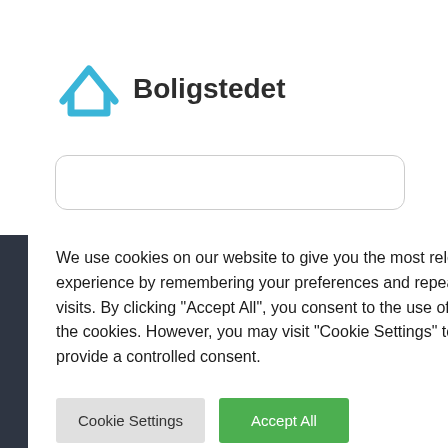[Figure (logo): Boligstedet logo: a blue house outline chevron icon followed by bold text 'Boligstedet']
We use cookies on our website to give you the most relevant experience by remembering your preferences and repeat visits. By clicking "Accept All", you consent to the use of ALL the cookies. However, you may visit "Cookie Settings" to provide a controlled consent.
Cookie Settings
Accept All
ser
og mere
s favorit-